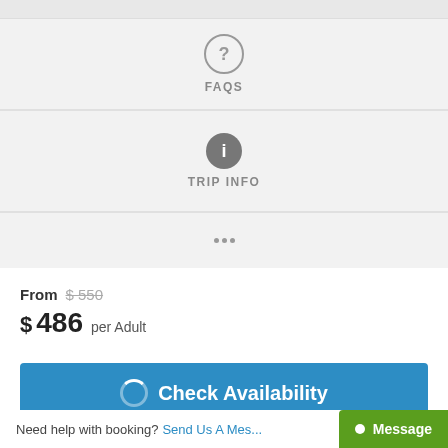FAQS
TRIP INFO
From $ 550
$ 486 per Adult
Check Availability
Need help with booking? Send Us A Message